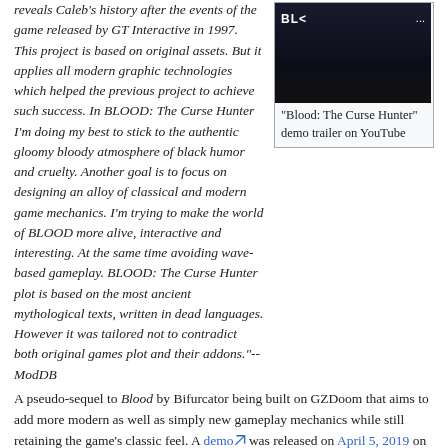reveals Caleb's history after the events of the game released by GT Interactive in 1997. This project is based on original assets. But it applies all modern graphic technologies which helped the previous project to achieve such success. In BLOOD: The Curse Hunter I'm doing my best to stick to the authentic gloomy bloody atmosphere of black humor and cruelty. Another goal is to focus on designing an alloy of classical and modern game mechanics. I'm trying to make the world of BLOOD more alive, interactive and interesting. At the same time avoiding wave-based gameplay. BLOOD: The Curse Hunter plot is based on the most ancient mythological texts, written in dead languages. However it was tailored not to contradict both original games plot and their addons."--ModDB
[Figure (screenshot): YouTube thumbnail for 'Blood: The Curse Hunter' demo trailer showing a dark game scene with the YouTube play button overlaid]
"Blood: The Curse Hunter" demo trailer on YouTube
A pseudo-sequel to Blood by Bifurcator being built on GZDoom that aims to add more modern as well as simply new gameplay mechanics while still retaining the game's classic feel. A demo was released on April 5, 2019 on Pateron, with a later release for ModDB.
Links: ModDB page, YouTube channel, Facebook page, Bifurcator's Patreon Doomworld thread, Transfusion Forums thread,
Doom Palette [edit]
The following are either Blood content or modified Blood content converted